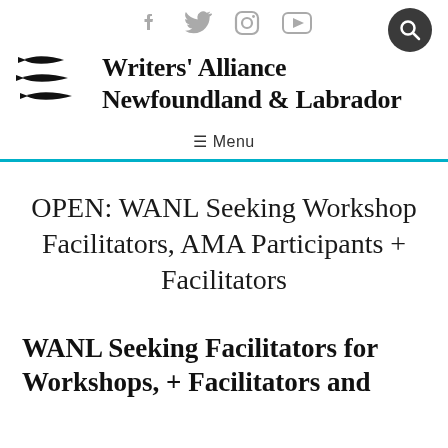Social media icons: Facebook, Twitter, Instagram, YouTube, Search
[Figure (logo): Writers' Alliance Newfoundland & Labrador logo with stylized fish shapes and organization name]
≡ Menu
OPEN: WANL Seeking Workshop Facilitators, AMA Participants + Facilitators
WANL Seeking Facilitators for Workshops, + Facilitators and